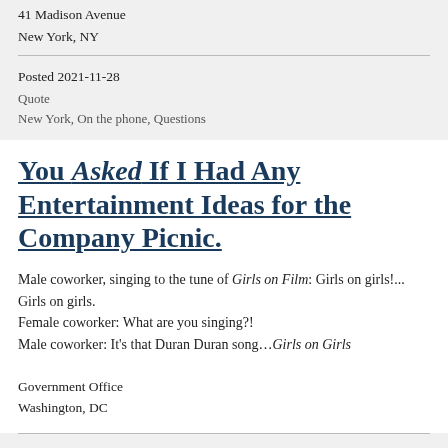41 Madison Avenue
New York, NY
Posted 2021-11-28
Quote
New York, On the phone, Questions
You Asked If I Had Any Entertainment Ideas for the Company Picnic.
Male coworker, singing to the tune of Girls on Film: Girls on girls!... Girls on girls.
Female coworker: What are you singing?!
Male coworker: It's that Duran Duran song...Girls on Girls
Government Office
Washington, DC
Posted 2021-11-28